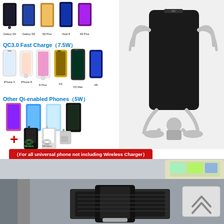[Figure (photo): Five Samsung Galaxy phones (Galaxy S9, Galaxy S8, S8 Plus, Note 8, S9 Plus) shown as product thumbnails with labels beneath]
QC3.0 Fast Charge（7.5W）
[Figure (photo): Six iPhone models (iPhone X, iPhone 8, 8 Plus, XS, XS Max, XR) shown as product thumbnails with labels beneath]
Other Qi-enabled Phones（5W）
[Figure (photo): Four generic Qi-enabled phones shown as product thumbnails]
[Figure (photo): Plus sign with wireless charging receiver adapters (black and white)]
[Figure (photo): Wireless car charger holder product photo on right side - black with silver arms]
（For all universal phone not including Wireless Charger）
[Figure (photo): Bottom photo showing wireless car charger holder mounted in car dashboard air vent, with yellow-green glowing wireless charger pad visible on right]